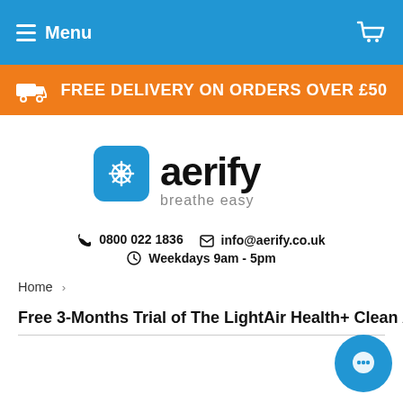Menu
FREE DELIVERY ON ORDERS OVER £50
[Figure (logo): Aerify logo with blue rounded square icon and text 'aerify breathe easy']
0800 022 1836  info@aerify.co.uk  Weekdays 9am - 5pm
Home >
Free 3-Months Trial of The LightAir Health+ Clean Air As A S